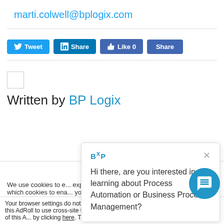marti.colwell@bplogix.com
[Figure (screenshot): Social sharing buttons: Tweet, Share (LinkedIn), Like 0, Share (Facebook)]
[Figure (logo): BP Logix placeholder image logo]
Written by BP Logix
[Figure (screenshot): BXP chat popup: Hi there, are you interested in learning about Process Automation or Business Process Management? with X close button]
We use cookies to e... experience and ana... "Accept All" to conse... which cookies to ena... your info won't be tracked.
Accept
Your browser settings do not allow cross-site tracking for advertising. Click on this AdRoll to use cross-site tracking to tailor ads to you. Learn more or opt out of this A... by clicking here. This message only appears once.